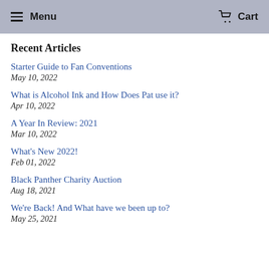Menu  Cart
Recent Articles
Starter Guide to Fan Conventions
May 10, 2022
What is Alcohol Ink and How Does Pat use it?
Apr 10, 2022
A Year In Review: 2021
Mar 10, 2022
What's New 2022!
Feb 01, 2022
Black Panther Charity Auction
Aug 18, 2021
We're Back! And What have we been up to?
May 25, 2021